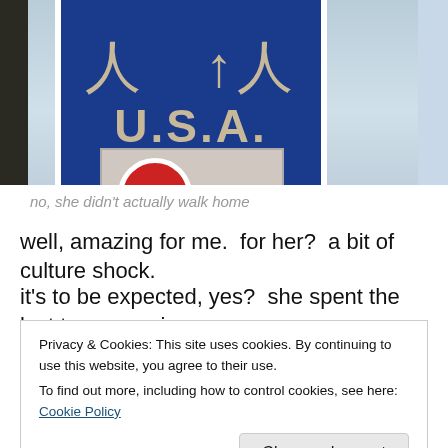[Figure (photo): A blue street sign with Japanese kanji characters and 'U.S.A.' text, mounted on a pole. Below it is a smaller grey sign and a red circular sign. Sky visible in background.]
no, she didn't actually walk home
well, amazing for me.  for her?  a bit of culture shock.
it's to be expected, yes?  she spent the last two years in a
Privacy & Cookies: This site uses cookies. By continuing to use this website, you agree to their use.
To find out more, including how to control cookies, see here: Cookie Policy
Close and accept